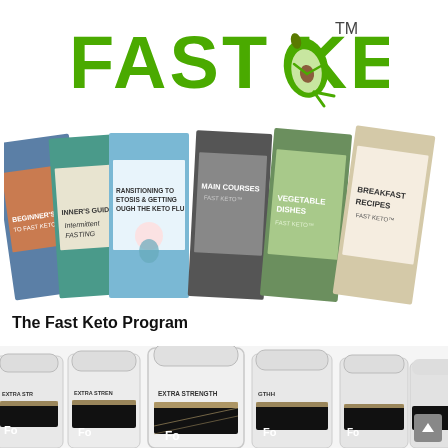[Figure (logo): Fast Keto logo with green bold text 'FAST KETO' followed by an avocado illustration wearing a cape and the trademark symbol TM]
[Figure (photo): A fan of seven books/guides from the Fast Keto program including Beginner's Guide to Fast Keto, Intermittent Fasting, Transitioning to Ketosis & Getting Through the Keto Flu, Main Courses, Vegetable Dishes, and Breakfast Recipes]
The Fast Keto Program
[Figure (photo): Multiple white supplement bottles labeled 'Extra Strength' arranged in a row, partially cut off at the bottom of the image]